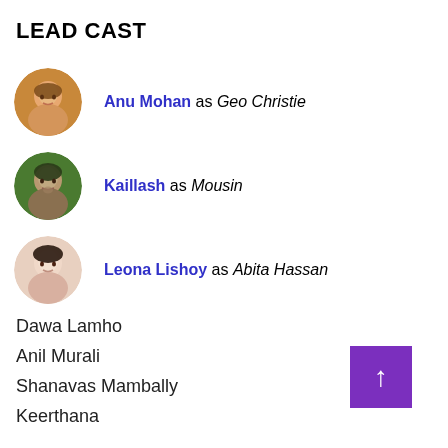LEAD CAST
Anu Mohan as Geo Christie
Kaillash as Mousin
Leona Lishoy as Abita Hassan
Dawa Lamho
Anil Murali
Shanavas Mambally
Keerthana
Sharran Puthumana
Edavela Rafi